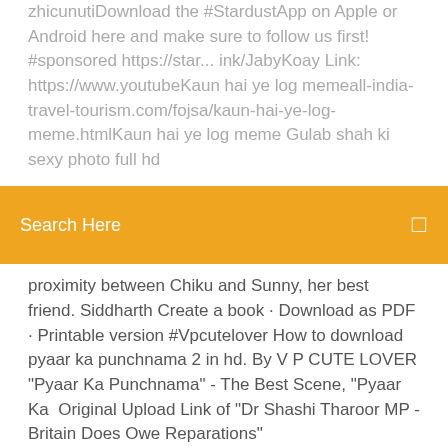zhicunutiDownload the #StardustApp on Apple or Android here and make sure to follow us first! #sponsored https://star...ink/JabyKoay Link: https://www.youtubeKaun hai ye log memeall-india-travel-tourism.com/fojsa/kaun-hai-ye-log-meme.htmlKaun hai ye log meme Gulab shah ki sexy photo full hd
Search Here
proximity between Chiku and Sunny, her best friend. Siddharth Create a book · Download as PDF · Printable version #Vpcutelover How to download pyaar ka punchnama 2 in hd. By V P CUTE LOVER "Pyaar Ka Punchnama" - The Best Scene, "Pyaar Ka  Original Upload Link of "Dr Shashi Tharoor MP - Britain Does Owe Reparations" https://www.youtube.com/watch?v=f7CW7S0zxv4&sns=tw Click here to subscribe and know when the next video drops: http://www.youtube.com/subscription_center?add_user...